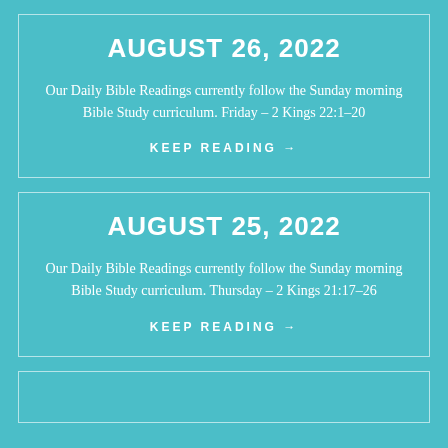AUGUST 26, 2022
Our Daily Bible Readings currently follow the Sunday morning Bible Study curriculum. Friday – 2 Kings 22:1–20
KEEP READING →
AUGUST 25, 2022
Our Daily Bible Readings currently follow the Sunday morning Bible Study curriculum. Thursday – 2 Kings 21:17–26
KEEP READING →